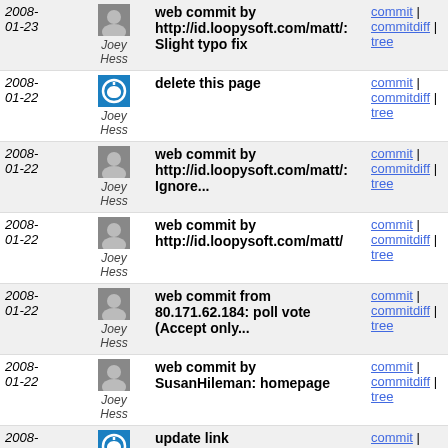| Date | Author | Message | Links |
| --- | --- | --- | --- |
| 2008-01-23 | Joey Hess | web commit by http://id.loopysoft.com/matt/: Slight typo fix | commit | commitdiff | tree |
| 2008-01-22 | Joey Hess | delete this page | commit | commitdiff | tree |
| 2008-01-22 | Joey Hess | web commit by http://id.loopysoft.com/matt/: Ignore... | commit | commitdiff | tree |
| 2008-01-22 | Joey Hess | web commit by http://id.loopysoft.com/matt/ | commit | commitdiff | tree |
| 2008-01-22 | Joey Hess | web commit from 80.171.62.184: poll vote (Accept only... | commit | commitdiff | tree |
| 2008-01-22 | Joey Hess | web commit by SusanHileman: homepage | commit | commitdiff | tree |
| 2008-01-21 | Joey Hess | update link | commit | commitdiff | tree |
| 2008-01-21 | Joey Hess | move | commit | commitdiff | tree |
| 2008- | Joey Hess | web commit by http://scottschulz.us/: | commit | commitdiff |